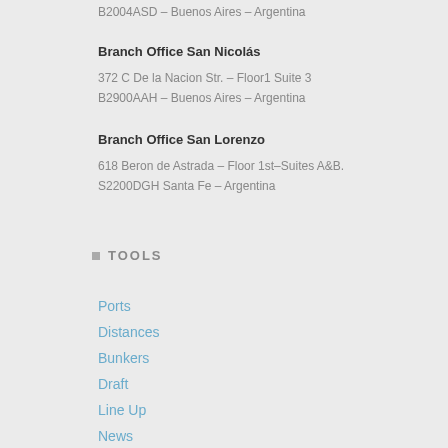B2004ASD – Buenos Aires – Argentina
Branch Office San Nicolás
372 C De la Nacion Str. – Floor1 Suite 3
B2900AAH – Buenos Aires – Argentina
Branch Office San Lorenzo
618 Beron de Astrada – Floor 1st–Suites A&B.
S2200DGH Santa Fe – Argentina
TOOLS
Ports
Distances
Bunkers
Draft
Line Up
News